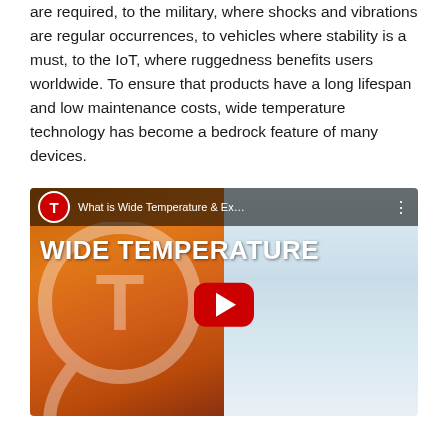are required, to the military, where shocks and vibrations are regular occurrences, to vehicles where stability is a must, to the IoT, where ruggedness benefits users worldwide. To ensure that products have a long lifespan and low maintenance costs, wide temperature technology has become a bedrock feature of many devices.
[Figure (other): YouTube video thumbnail for 'What is Wide Temperature & Ex...' showing split background of desert dunes on the left and snowy/icy landscape on the right, with large white bold text 'WIDE TEMPERATURE' overlaid, a red YouTube play button in the center, and a Innodisk-style logo (red circle with white T icon) in the top-left corner of the video player.]